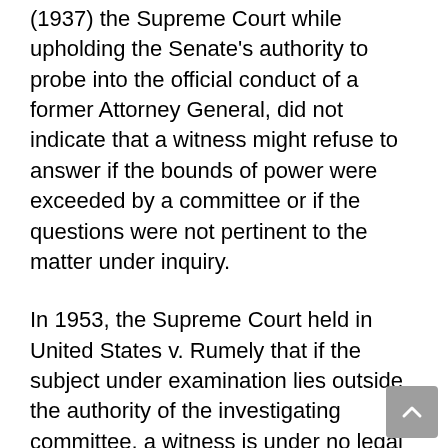(1937) the Supreme Court while upholding the Senate's authority to probe into the official conduct of a former Attorney General, did not indicate that a witness might refuse to answer if the bounds of power were exceeded by a committee or if the questions were not pertinent to the matter under inquiry.
In 1953, the Supreme Court held in United States v. Rumely that if the subject under examination lies outside the authority of the investigating committee, a witness is under no legal obligation to answer its questions. In 1957, in the case of Waikins v. United States the Supreme Court set aside the conviction of a wimess for contempt of Congress because the questions he had refused to